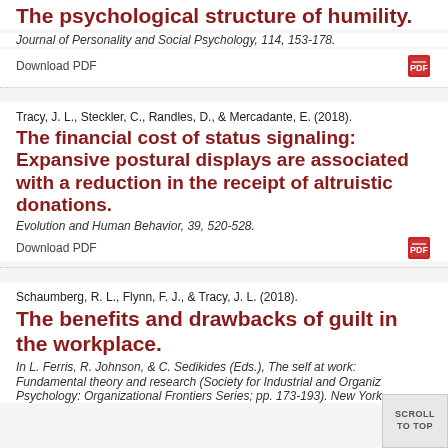The psychological structure of humility.
Journal of Personality and Social Psychology, 114, 153-178.
Download PDF
Tracy, J. L., Steckler, C., Randles, D., & Mercadante, E. (2018).
The financial cost of status signaling: Expansive postural displays are associated with a reduction in the receipt of altruistic donations.
Evolution and Human Behavior, 39, 520-528.
Download PDF
Schaumberg, R. L., Flynn, F. J., & Tracy, J. L. (2018).
The benefits and drawbacks of guilt in the workplace.
In L. Ferris, R. Johnson, & C. Sedikides (Eds.), The self at work: Fundamental theory and research (Society for Industrial and Organiz Psychology: Organizational Frontiers Series; pp. 173-193). New York